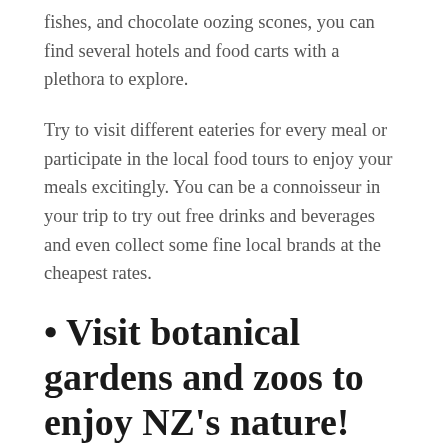fishes, and chocolate oozing scones, you can find several hotels and food carts with a plethora to explore.
Try to visit different eateries for every meal or participate in the local food tours to enjoy your meals excitingly. You can be a connoisseur in your trip to try out free drinks and beverages and even collect some fine local brands at the cheapest rates.
• Visit botanical gardens and zoos to enjoy NZ's nature!
Botanical gardens, parks, and safaris are thousands in the marine temperate climate of Wellington. You can visit the Wellington botanical garden, Begonia House in Glenmore Street, or Turby King Park in Manchester to